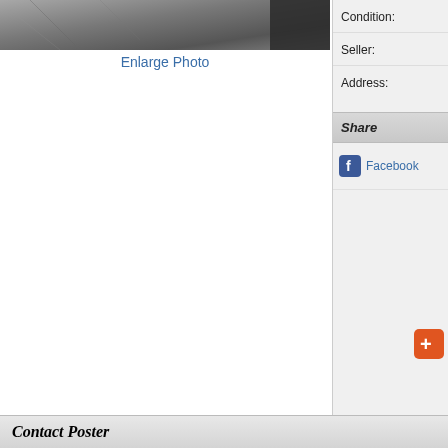[Figure (photo): Partial view of a motorcycle or vehicle photo, cropped at top, with grey/dark tones]
Enlarge Photo
Condition:
Seller:
Address:
Share
Facebook
Completely restored 77 HD Shovelhead. 93 SS Stoker kit, SS heads, original cases de... PM controls, Rebuilt tranny - 4spd kicker, Internal wiring, new tires etc...
Contact Poster